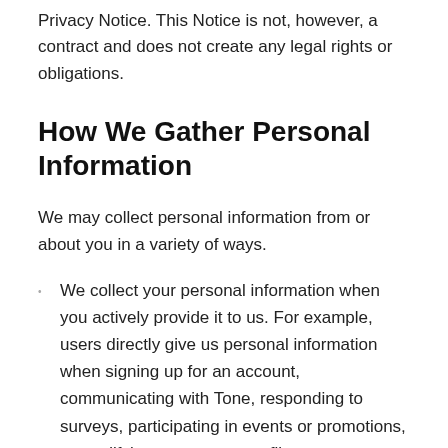Privacy Notice. This Notice is not, however, a contract and does not create any legal rights or obligations.
How We Gather Personal Information
We may collect personal information from or about you in a variety of ways.
We collect your personal information when you actively provide it to us. For example, users directly give us personal information when signing up for an account, communicating with Tone, responding to surveys, participating in events or promotions, or modifying an account profile.
We may also collect personal information about you